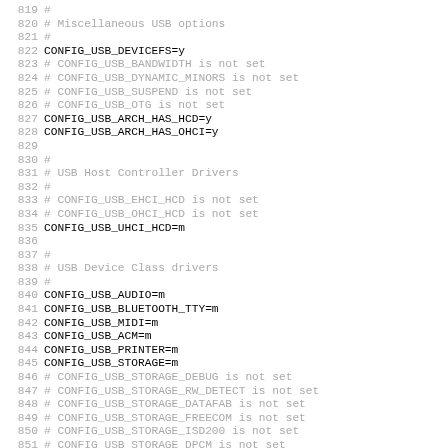819 #
820 # Miscellaneous USB options
821 #
822 CONFIG_USB_DEVICEFS=y
823 # CONFIG_USB_BANDWIDTH is not set
824 # CONFIG_USB_DYNAMIC_MINORS is not set
825 # CONFIG_USB_SUSPEND is not set
826 # CONFIG_USB_OTG is not set
827 CONFIG_USB_ARCH_HAS_HCD=y
828 CONFIG_USB_ARCH_HAS_OHCI=y
829 
830 #
831 # USB Host Controller Drivers
832 #
833 # CONFIG_USB_EHCI_HCD is not set
834 # CONFIG_USB_OHCI_HCD is not set
835 CONFIG_USB_UHCI_HCD=m
836 
837 #
838 # USB Device Class drivers
839 #
840 CONFIG_USB_AUDIO=m
841 CONFIG_USB_BLUETOOTH_TTY=m
842 CONFIG_USB_MIDI=m
843 CONFIG_USB_ACM=m
844 CONFIG_USB_PRINTER=m
845 CONFIG_USB_STORAGE=m
846 # CONFIG_USB_STORAGE_DEBUG is not set
847 # CONFIG_USB_STORAGE_RW_DETECT is not set
848 # CONFIG_USB_STORAGE_DATAFAB is not set
849 # CONFIG_USB_STORAGE_FREECOM is not set
850 # CONFIG_USB_STORAGE_ISD200 is not set
851 # CONFIG_USB_STORAGE_DPCM is not set